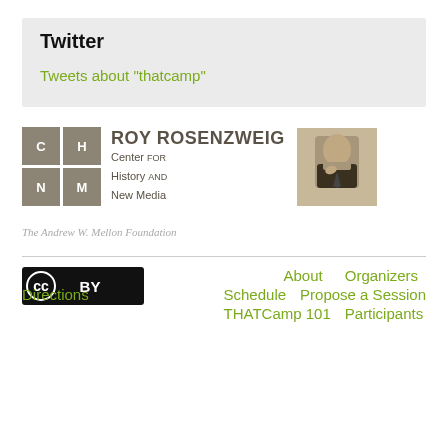Twitter
Tweets about "thatcamp"
[Figure (logo): Roy Rosenzweig Center for History and New Media logo with 2x2 grid of tan squares labeled C, H, N, M and a portrait photograph of Roy Rosenzweig]
[Figure (logo): The Andrew W. Mellon Foundation wordmark in gray italic serif text]
[Figure (logo): Creative Commons CC BY license badge]
About
Organizers
Directions
Schedule
Propose a Session
THATCamp 101
Participants